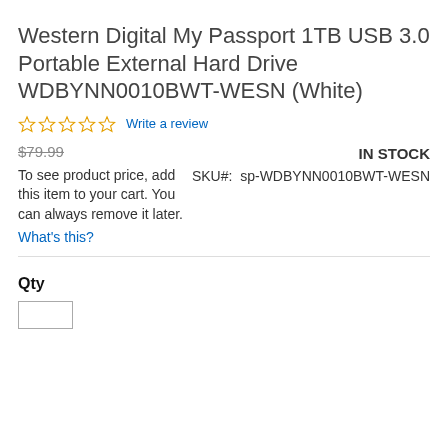Western Digital My Passport 1TB USB 3.0 Portable External Hard Drive WDBYNN0010BWT-WESN (White)
☆☆☆☆☆ Write a review
$79.99
IN STOCK
SKU#:  sp-WDBYNN0010BWT-WESN
To see product price, add this item to your cart. You can always remove it later.
What's this?
Qty